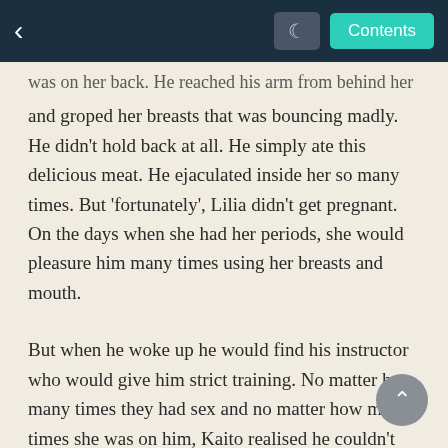< [moon] Contents
was on her back. He reached his arm from behind her and groped her breasts that was bouncing madly. He didn't hold back at all. He simply ate this delicious meat. He ejaculated inside her so many times. But 'fortunately', Lilia didn't get pregnant. On the days when she had her periods, she would pleasure him many times using her breasts and mouth.
But when he woke up he would find his instructor who would give him strict training. No matter how many times they had sex and no matter how many times she was on him, Kaito realised he couldn't overcome "that person" who was still inside Lilia's heart. This jealousy he had towards him might have been the biggest factor